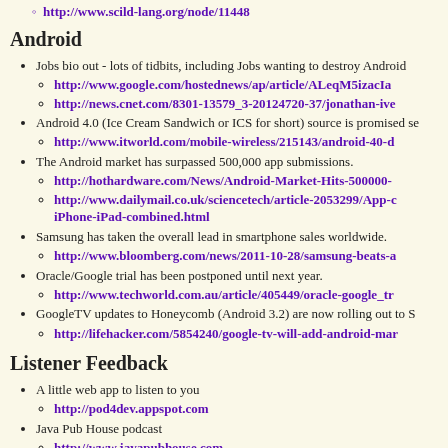http://www.scild-lang.org/node/11448
Android
Jobs bio out - lots of tidbits, including Jobs wanting to destroy Android
http://www.google.com/hostednews/ap/article/ALeqM5izacIa...
http://news.cnet.com/8301-13579_3-20124720-37/jonathan-ive...
Android 4.0 (Ice Cream Sandwich or ICS for short) source is promised se...
http://www.itworld.com/mobile-wireless/215143/android-40-d...
The Android market has surpassed 500,000 app submissions.
http://hothardware.com/News/Android-Market-Hits-500000-...
http://www.dailymail.co.uk/sciencetech/article-2053299/App-c... iPhone-iPad-combined.html
Samsung has taken the overall lead in smartphone sales worldwide.
http://www.bloomberg.com/news/2011-10-28/samsung-beats-a...
Oracle/Google trial has been postponed until next year.
http://www.techworld.com.au/article/405449/oracle-google_tr...
GoogleTV updates to Honeycomb (Android 3.2) are now rolling out to S...
http://lifehacker.com/5854240/google-tv-will-add-android-mar...
Listener Feedback
A little web app to listen to you
http://pod4dev.appspot.com
Java Pub House podcast
http://www.javapubhouse.com
JFokus 2012
http://www.jfokus.se/jfokus/?lang=en&#page=page-1